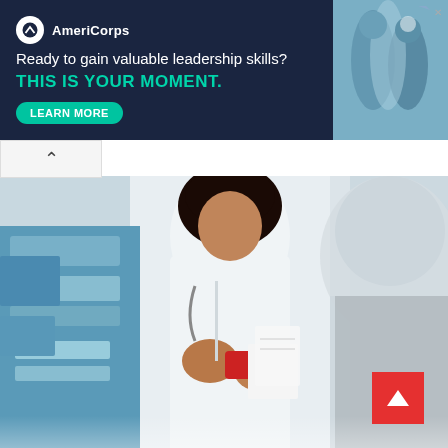[Figure (infographic): AmeriCorps advertisement banner with dark navy background. Logo with white circle, brand name 'AmeriCorps', tagline 'Ready to gain valuable leadership skills?', CTA text 'THIS IS YOUR MOMENT.' in teal/green, a 'LEARN MORE' button, and a photo of students on the right side.]
[Figure (photo): Photo of pharmacy students or pharmacists in white lab coats working in a lab or pharmacy setting, handing medication, with equipment and blue bins visible in the background.]
Doctor of Pharmacy (Pharm.D.)
Ad  Midwestern University